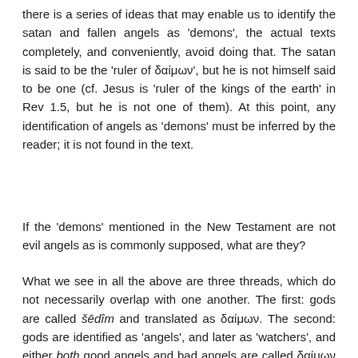there is a series of ideas that may enable us to identify the satan and fallen angels as 'demons', the actual texts completely, and conveniently, avoid doing that. The satan is said to be the 'ruler of δαίμων', but he is not himself said to be one (cf. Jesus is 'ruler of the kings of the earth' in Rev 1.5, but he is not one of them). At this point, any identification of angels as 'demons' must be inferred by the reader; it is not found in the text.
If the 'demons' mentioned in the New Testament are not evil angels as is commonly supposed, what are they?
What we see in all the above are three threads, which do not necessarily overlap with one another. The first: gods are called šēdîm and translated as δαίμων. The second: gods are identified as 'angels', and later as 'watchers', and either both good angels and bad angels are called δαίμων (Philo), or neither are (Septuagint, New Testament). And the third thread: bad angels produced giant offspring, and the ghosts